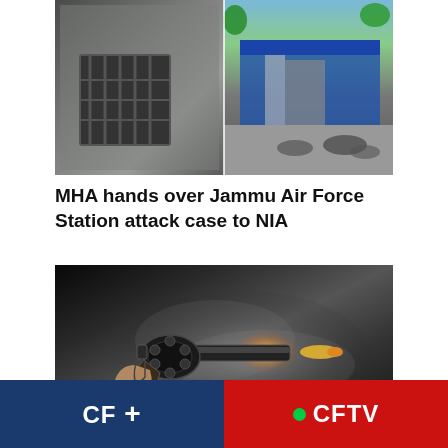[Figure (photo): Two photos side by side: left shows a building wall with barred window, right shows a street scene with vehicles and a blue gate/checkpoint]
MHA hands over Jammu Air Force Station attack case to NIA
[Figure (photo): A dark dramatic photo of a revolver being fired, with a bullet and smoke/muzzle blast visible]
CF +    • CFTV